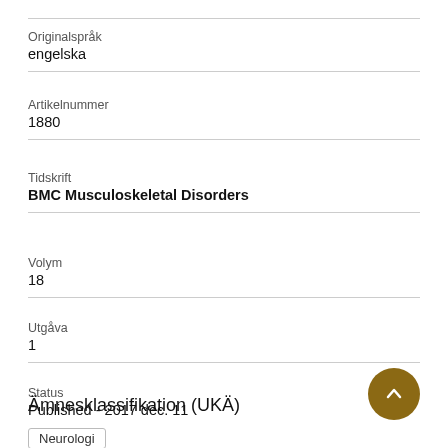Originalspråk
engelska
Artikelnummer
1880
Tidskrift
BMC Musculoskeletal Disorders
Volym
18
Utgåva
1
Status
Published - 2017 dec. 11
Ämnesklassifikation (UKÄ)
Neurologi